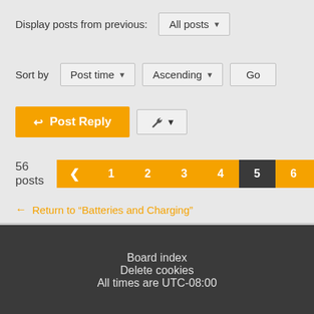Display posts from previous: All posts
Sort by  Post time  Ascending  Go
Post Reply
56 posts  1 2 3 4 5 6
← Return to "Batteries and Charging"
Board index
Delete cookies
All times are UTC-08:00